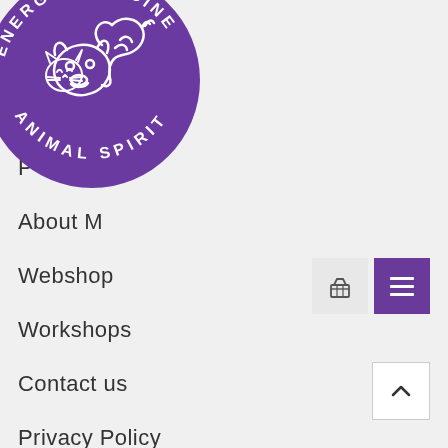[Figure (logo): Energy Medicine Animal Spirit circular logo with purple background and white animal outlines (horse, dog, cat) with curved text reading ENERGY MEDICINE on top and ANIMAL SPIRIT on bottom]
P...
About M...
Webshop
Workshops
Contact us
Privacy Policy